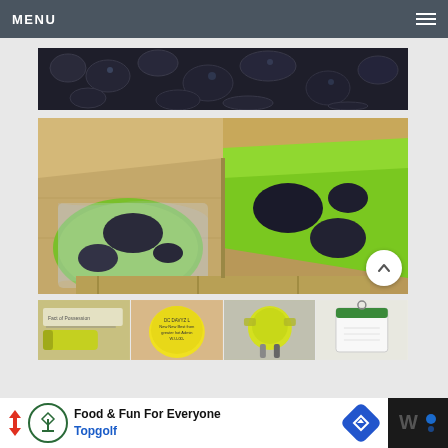MENU
[Figure (photo): Partial photo showing dark bubble wrap / black textured surface, cropped at top]
[Figure (photo): Open cardboard box containing green and black item (snorkeling fins or similar equipment) wrapped in clear plastic]
[Figure (photo): Thumbnail: yellow-green tube and paper on surface]
[Figure (photo): Thumbnail: round yellow sticker label on item]
[Figure (photo): Thumbnail: yellow-green equipment item with straps]
[Figure (photo): Thumbnail: white hang tag or label with green stripe]
Food & Fun For Everyone
Topgolf